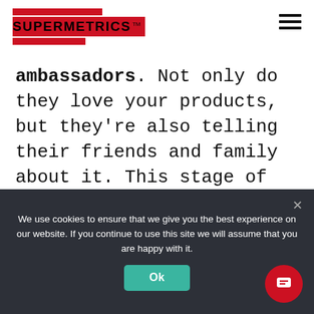SUPERMETRICS™
ambassadors. Not only do they love your products, but they're also telling their friends and family about it. This stage of the customer's lifecycle is often overlooked, and that's a huge mistake. Being aware of the metrics from this pillar and acting accordingly is what makes the difference between an average ecommerce business
We use cookies to ensure that we give you the best experience on our website. If you continue to use this site we will assume that you are happy with it. Ok